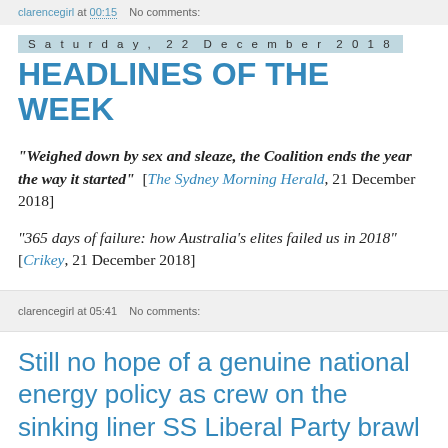clarencegirl at 00:15   No comments:
Saturday, 22 December 2018
HEADLINES OF THE WEEK
“Weighed down by sex and sleaze, the Coalition ends the year the way it started”  [The Sydney Morning Herald, 21 December 2018]
“365 days of failure: how Australia’s elites failed us in 2018”  [Crikey, 21 December 2018]
clarencegirl at 05:41   No comments:
Still no hope of a genuine national energy policy as crew on the sinking liner SS Liberal Party brawl on deck